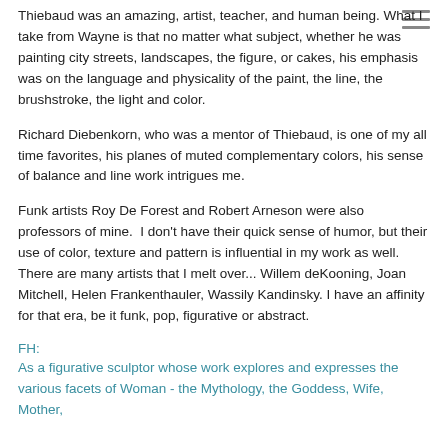Thiebaud was an amazing, artist, teacher, and human being. What I take from Wayne is that no matter what subject, whether he was painting city streets, landscapes, the figure, or cakes, his emphasis was on the language and physicality of the paint, the line, the brushstroke, the light and color.
Richard Diebenkorn, who was a mentor of Thiebaud, is one of my all time favorites, his planes of muted complementary colors, his sense of balance and line work intrigues me.
Funk artists Roy De Forest and Robert Arneson were also professors of mine.  I don't have their quick sense of humor, but their use of color, texture and pattern is influential in my work as well.  There are many artists that I melt over... Willem deKooning, Joan Mitchell, Helen Frankenthauler, Wassily Kandinsky. I have an affinity for that era, be it funk, pop, figurative or abstract.
FH:
As a figurative sculptor whose work explores and expresses the various facets of Woman - the Mythology, the Goddess, Wife, Mother,